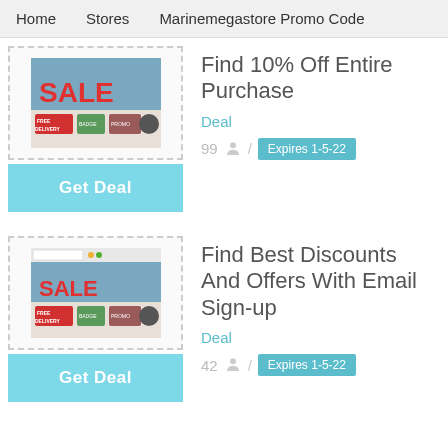Home   Stores   Marinemegastore Promo Code
[Figure (screenshot): Marinemegastore website screenshot showing SALE banner with FREE DELIVERY and other promotional badges]
Find 10% Off Entire Purchase
Deal
99 / Expires 1-5-22
Get Deal
[Figure (screenshot): Marinemegastore website screenshot showing SALE banner with FREE DELIVERY and other promotional badges]
Find Best Discounts And Offers With Email Sign-up
Deal
42 / Expires 1-5-22
Get Deal